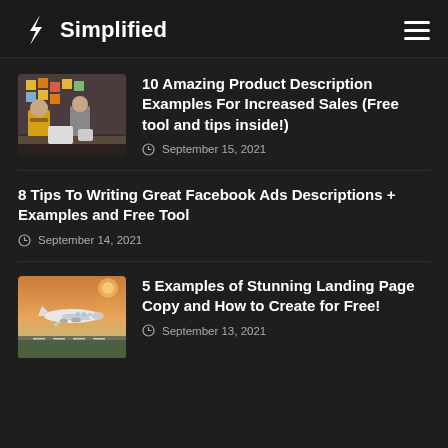Simplified
10 Amazing Product Description Examples For Increased Sales (Free tool and tips inside!)
September 15, 2021
8 Tips To Writing Great Facebook Ads Descriptions + Examples and Free Tool
September 14, 2021
5 Examples of Stunning Landing Page Copy and How to Create for Free!
September 13, 2021